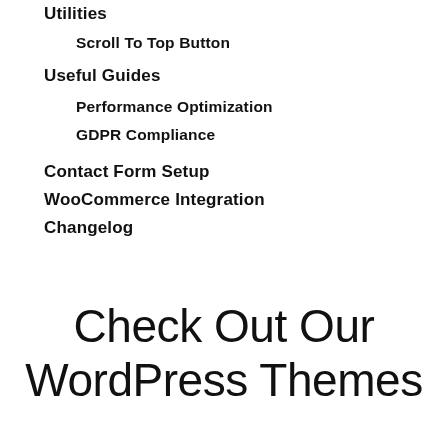Utilities
Scroll To Top Button
Useful Guides
Performance Optimization
GDPR Compliance
Contact Form Setup
WooCommerce Integration
Changelog
Check Out Our WordPress Themes